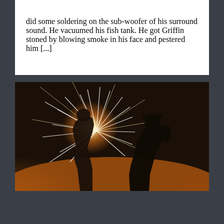did some soldering on the sub-woofer of his surround sound. He vacuumed his fish tank. He got Griffin stoned by blowing smoke in his face and pestered him [...]
[Figure (photo): Two silhouetted figures against a bright explosion of sparks and orange smoke/fire. One figure appears to be crouching or bent over, the other standing, both surrounded by dramatic firework-like sparks in a hazy, warm-lit environment.]